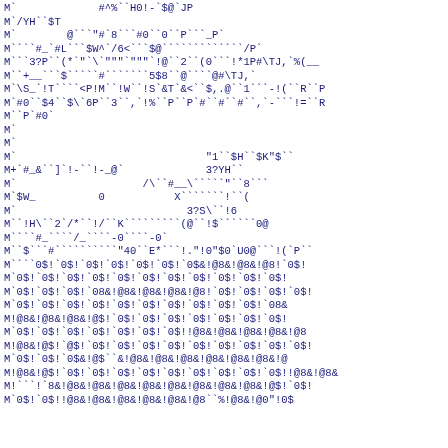M`             #^%``H0!-`$@`JP
M`/YH``$T
M`        @```"#`8```#0``0``P```_P`
M````#_`#L```$W^`/6<```$@`````````````/P`
M```3?P``(*`"`\`"""`"""`!@``2``(0```!*1P#\TJ,`%(__
M``+__```$`````#```````5$8``@````@#\TJ,`
M`\S_`!T````<P!M``!W``!S`&T`&<``$,.@``1```-!(``R``P
M`#0``$4``$\`6P``3``,`!%``P``P`#``#``#``,`-```!=``R
M``P`#0`
M`
M`
M`                              "1``$H``$K"$``
M+`#_&``]`!-``!-_@`             3?YH``
M`                    /\``#__\`````"``8```
M`$W_          0           X```````!``(
M`                           3?S\``!6
M``!H\``2`/*``!/``K`````````(@``!$``````0@
M````#_````/_````-0````-0`
M``$```#``````````"40``E*```!."!0"$0`U0@```!(`P``
M````0$!`0$!`0$!`0$!`0$!`0$!`0$&!@8&!@8&!@8!`0$!
M`0$!`0$!`0$!`0$!`0$!`0$!`0$!`0$!`0$!`0$!`0$!
M`0$!`0$!`0$!`08&!@8&!@8&!@8&!@8!`0$!`0$!`0$!`0$!
M`0$!`0$!`0$!`0$!`0$!`0$!`0$!`0$!`0$!`0$!`08&
M!@8&!@8&!@8&!@$!`0$!`0$!`0$!`0$!`0$!`0$!`0$!
M`0$!`0$!`0$!`0$!`0$!`0$!`0$!!@8&!@8&!@8&!@8&!@8
M!@8&!@$!`@$!`0$!`0$!`0$!`0$!`0$!`0$!`0$!`0$!`0$!
M`0$!`0$!`0$&!@$``&!@8&!@8&!@8&!@8&!@8&!@8&!@
M!@8&!@$!`0$!`0$!`0$!`0$!`0$!`0$!`0$!`0$!`0$!!@8&!@8&
M!```!`8&!@8&!@8&!@8&!@8&!@8&!@8&!@8&!@8&!@$!`0$!
M`0$!`0$!!@8&!@8&!@8&!@8&!@8&!@8``%!@8&!@0"!0$